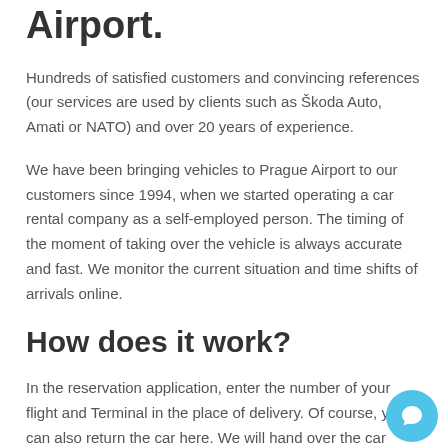Airport.
Hundreds of satisfied customers and convincing references (our services are used by clients such as Škoda Auto, Amati or NATO) and over 20 years of experience.
We have been bringing vehicles to Prague Airport to our customers since 1994, when we started operating a car rental company as a self-employed person. The timing of the moment of taking over the vehicle is always accurate and fast. We monitor the current situation and time shifts of arrivals online.
How does it work?
In the reservation application, enter the number of your flight and Terminal in the place of delivery. Of course, you can also return the car here. We will hand over the car directly in front of the exit from Terminal 1 (parking area marked Pb Economy) or in front of Terminal 2 (parking area marked Pc Comfort). These car parks are designed for a short parking interval,